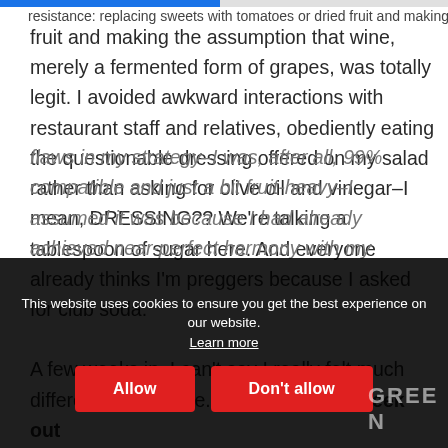resistance: replacing sweets with tomatoes or dried fruit and making the assumption that wine, merely a fermented form of grapes, was totally legit. I avoided awkward interactions with restaurant staff and relatives, obediently eating the questionable dressing offered on my salad rather than asking for olive oil and vinegar–I mean, DRESSING?? We're talking a tablespoon of sugar here. And everyone already thinks I'm preggers because I asked for club soda.
A few weeks in, I can't say I really felt much different from before. But rather than seek out flaws in my strategy–I was, after all, 99% compatible and just a bit fruit-heavy–I assumed it was because I had already achieved near-perfect harmony with my
This website uses cookies to ensure you get the best experience on our website. Learn more
Allow
Don't allow